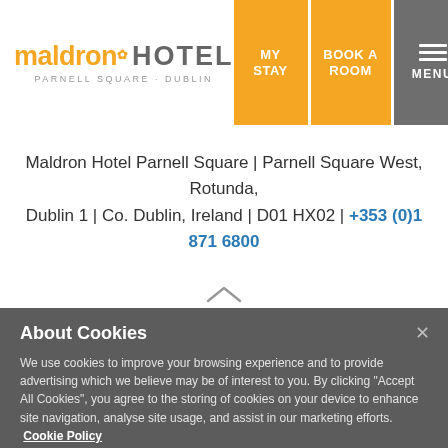[Figure (logo): Maldron Hotel Parnell Square Dublin logo with orange text and hotel subtitle]
MY STAY | BOOK A ROOM | MENU
Maldron Hotel Parnell Square | Parnell Square West, Rotunda, Dublin 1 | Co. Dublin, Ireland | D01 HX02 | +353 (0)1 871 6800
About Cookies
We use cookies to improve your browsing experience and to provide advertising which we believe may be of interest to you. By clicking "Accept All Cookies", you agree to the storing of cookies on your device to enhance site navigation, analyse site usage, and assist in our marketing efforts. Cookie Policy